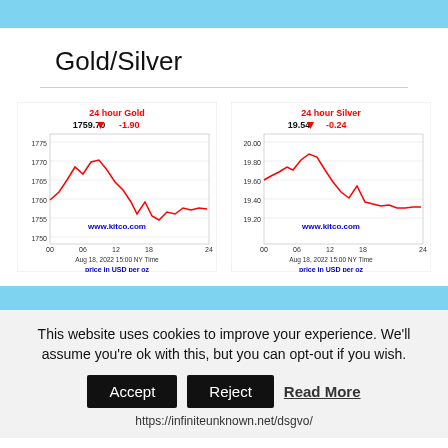Gold/Silver
[Figure (continuous-plot): 24 hour Gold price chart showing 1759.70 down -1.90, price in USD per oz, Aug 18, 2022 15:00 NY Time, www.kitco.com]
[Figure (continuous-plot): 24 hour Silver price chart showing 19.54 down -0.24, price in USD per oz, Aug 18, 2022 15:00 NY Time, www.kitco.com]
This website uses cookies to improve your experience. We'll assume you're ok with this, but you can opt-out if you wish.
Accept  Reject  Read More
https://infiniteunknown.net/dsgvo/